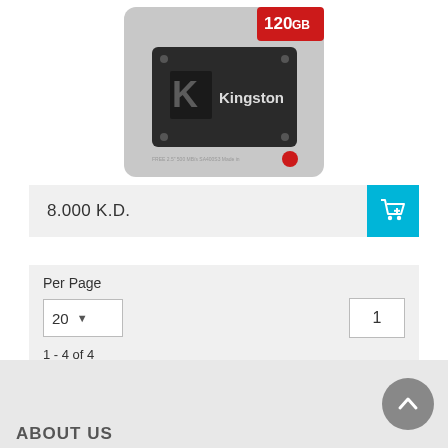[Figure (photo): Kingston 120GB SSD product in retail packaging, showing the SSD drive with Kingston logo and a person in background. 120GB label on red badge top right.]
8.000 K.D.
Per Page
20
1
1 - 4 of 4
ABOUT US